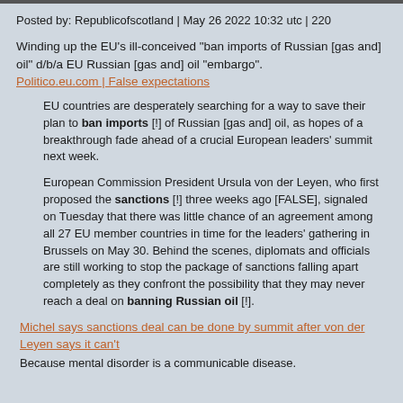Posted by: Republicofscotland | May 26 2022 10:32 utc | 220
Winding up the EU's ill-conceived "ban imports of Russian [gas and] oil" d/b/a EU Russian [gas and] oil "embargo". Politico.eu.com | False expectations
EU countries are desperately searching for a way to save their plan to ban imports [!] of Russian [gas and] oil, as hopes of a breakthrough fade ahead of a crucial European leaders' summit next week.
European Commission President Ursula von der Leyen, who first proposed the sanctions [!] three weeks ago [FALSE], signaled on Tuesday that there was little chance of an agreement among all 27 EU member countries in time for the leaders' gathering in Brussels on May 30. Behind the scenes, diplomats and officials are still working to stop the package of sanctions falling apart completely as they confront the possibility that they may never reach a deal on banning Russian oil [!].
Michel says sanctions deal can be done by summit after von der Leyen says it can't
Because mental disorder is a communicable disease.